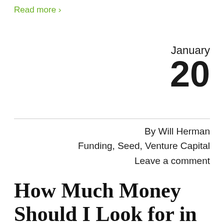Read more >
January 20
By Will Herman
Funding, Seed, Venture Capital
Leave a comment
How Much Money Should I Look for in